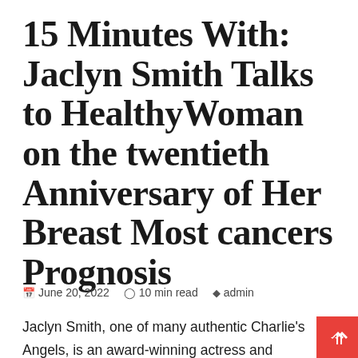15 Minutes With: Jaclyn Smith Talks to HealthyWoman on the twentieth Anniversary of Her Breast Most cancers Prognosis
June 20, 2022  10 min read  admin
Jaclyn Smith, one of many authentic Charlie's Angels, is an award-winning actress and entrepreneur who performed Kelly Garret on the favored TV present for 5 years, amongst many different accomplishments. In 1985, Smith launched a trend line in Ok-Mart, changing into one of